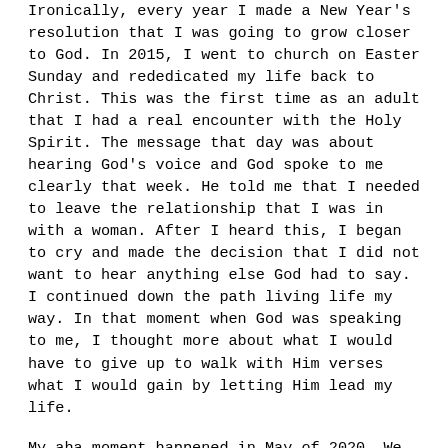Ironically, every year I made a New Year's resolution that I was going to grow closer to God. In 2015, I went to church on Easter Sunday and rededicated my life back to Christ. This was the first time as an adult that I had a real encounter with the Holy Spirit. The message that day was about hearing God's voice and God spoke to me clearly that week. He told me that I needed to leave the relationship that I was in with a woman. After I heard this, I began to cry and made the decision that I did not want to hear anything else God had to say. I continued down the path living life my way. In that moment when God was speaking to me, I thought more about what I would have to give up to walk with Him verses what I would gain by letting Him lead my life.
My aha moment happened in May of 2020. We were in lockdown because of covid, so I was no longer distracted by partying, going to bars, hanging out and was forced to sit and think. During this time, I began to drink heavily and smoke weed (which was not like me). I was changing into